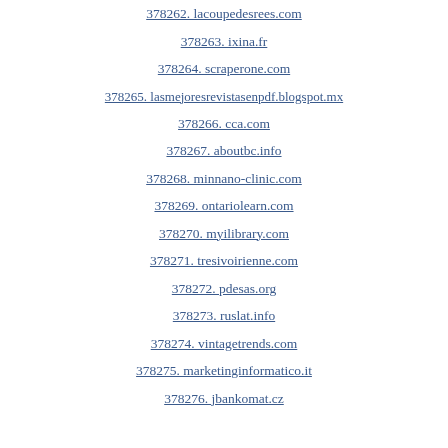378262. lacoupedesrees.com
378263. ixina.fr
378264. scraperone.com
378265. lasmejoresrevistasenpdf.blogspot.mx
378266. cca.com
378267. aboutbc.info
378268. minnano-clinic.com
378269. ontariolearn.com
378270. myilibrary.com
378271. tresivoirienne.com
378272. pdesas.org
378273. ruslat.info
378274. vintagetrends.com
378275. marketinginformatico.it
378276. jbankomat.cz